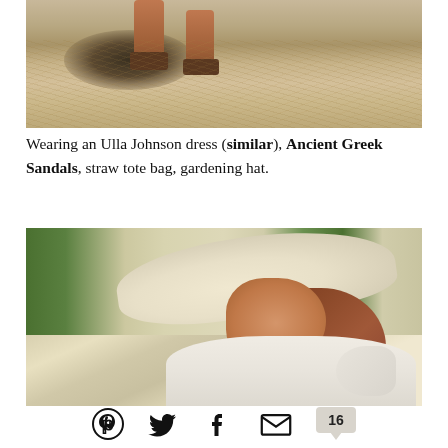[Figure (photo): Close-up photo of feet wearing brown sandals standing on dry golden grass with a dark shadow beneath]
Wearing an Ulla Johnson dress (similar), Ancient Greek Sandals, straw tote bag, gardening hat.
[Figure (photo): Side profile of a woman with auburn hair wearing a large wide-brim straw hat and a white ruffled dress, outdoors with green trees in background]
Pinterest Twitter Facebook Email 16